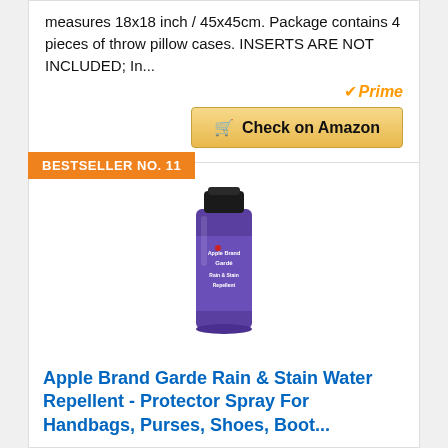measures 18x18 inch / 45x45cm. Package contains 4 pieces of throw pillow cases. INSERTS ARE NOT INCLUDED; In...
[Figure (logo): Amazon Prime checkmark badge with 'Prime' text in orange and dark]
[Figure (other): Yellow 'Check on Amazon' button with shopping cart icon]
BESTSELLER NO. 11
[Figure (photo): Apple Brand Garde Rain & Stain Repellent spray can with purple label and black cap]
Apple Brand Garde Rain & Stain Water Repellent - Protector Spray For Handbags, Purses, Shoes, Boots...